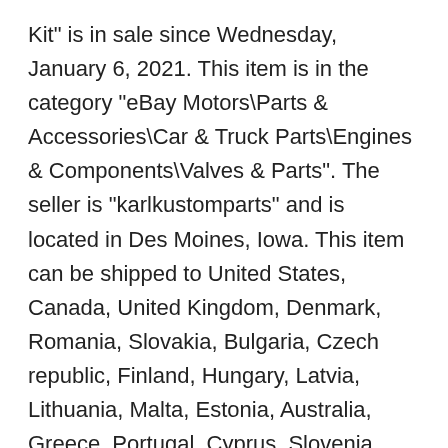Kit" is in sale since Wednesday, January 6, 2021. This item is in the category "eBay Motors\Parts & Accessories\Car & Truck Parts\Engines & Components\Valves & Parts". The seller is "karlkustomparts" and is located in Des Moines, Iowa. This item can be shipped to United States, Canada, United Kingdom, Denmark, Romania, Slovakia, Bulgaria, Czech republic, Finland, Hungary, Latvia, Lithuania, Malta, Estonia, Australia, Greece, Portugal, Cyprus, Slovenia, Japan, China, Sweden, South Korea, Indonesia, Taiwan, South africa, Thailand, Belgium, France, Hong Kong, Ireland, Netherlands, Poland, Spain, Italy, Germany, Austria, Bahamas, Israel, Mexico, New Zealand, Philippines, Singapore, Switzerland,